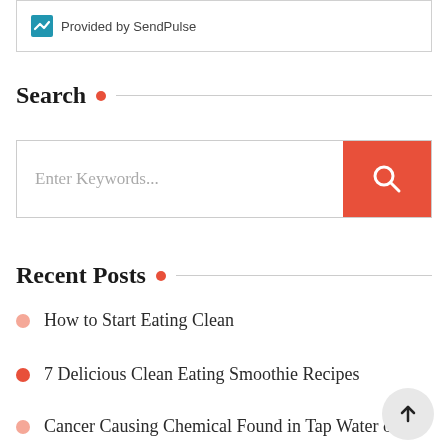[Figure (screenshot): SendPulse widget box with logo icon and 'Provided by SendPulse' text]
Search
[Figure (screenshot): Search input field with placeholder 'Enter Keywords...' and an orange search button with magnifying glass icon]
Recent Posts
How to Start Eating Clean
7 Delicious Clean Eating Smoothie Recipes
Cancer Causing Chemical Found in Tap Water of